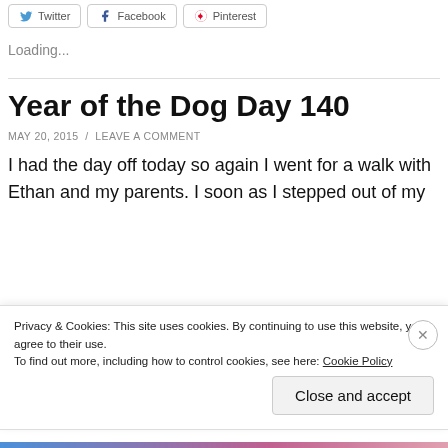[Figure (other): Social share buttons for Twitter, Facebook, Pinterest]
Loading...
Year of the Dog Day 140
MAY 20, 2015  /  LEAVE A COMMENT
I had the day off today so again I went for a walk with Ethan and my parents. I soon as I stepped out of my
Privacy & Cookies: This site uses cookies. By continuing to use this website, you agree to their use.
To find out more, including how to control cookies, see here: Cookie Policy
Close and accept